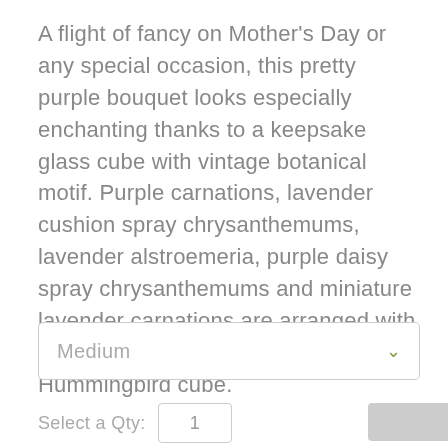A flight of fancy on Mother's Day or any special occasion, this pretty purple bouquet looks especially enchanting thanks to a keepsake glass cube with vintage botanical motif. Purple carnations, lavender cushion spray chrysanthemums, lavender alstroemeria, purple daisy spray chrysanthemums and miniature lavender carnations are arranged with leatherleaf fern. Delivered in a Sweet Hummingbird cube.
Medium
Select a Qty: 1